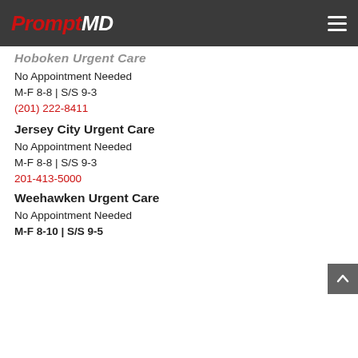PromptMD
Hoboken Urgent Care
No Appointment Needed
M-F 8-8 | S/S 9-3
(201) 222-8411
Jersey City Urgent Care
No Appointment Needed
M-F 8-8 | S/S 9-3
201-413-5000
Weehawken Urgent Care
No Appointment Needed
M-F 8-10 | S/S 9-5